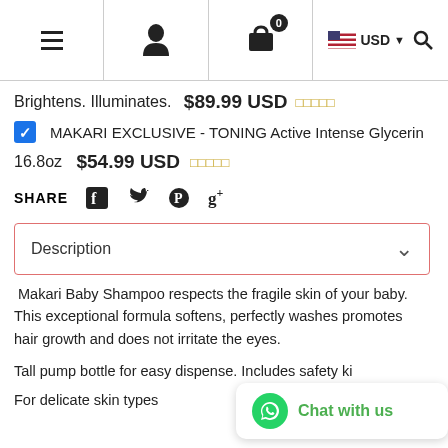Navigation bar with hamburger menu, user icon, cart (0), USD currency selector and search
Brightens. Illuminates.  $89.99 USD ★★★★★
☑ MAKARI EXCLUSIVE - TONING Active Intense Glycerin
16.8oz  $54.99 USD ★★★★★
SHARE  Facebook  Twitter  Pinterest  Google+
Description ∨
Makari Baby Shampoo respects the fragile skin of your baby. This exceptional formula softens, perfectly washes promotes hair growth and does not irritate the eyes.
Tall pump bottle for easy dispense. Includes safety ki...
For delicate skin types